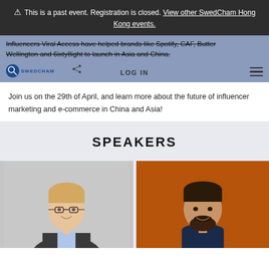This is a past event. Registration is closed. View other SwedCham Hong Kong events.
Influencers Viral Access have helped brands like Spotify, CAF, Butter Wellington and 6ixty8ight to launch in Asia and China.
Join us on the 29th of April, and learn more about the future of influencer marketing and e-commerce in China and Asia!
SPEAKERS
[Figure (photo): Headshot of male speaker with glasses and blonde hair, wearing a dark blazer, white background]
[Figure (photo): Headshot of male speaker with dark hair and beard, wearing dark shirt, orange/brown background]